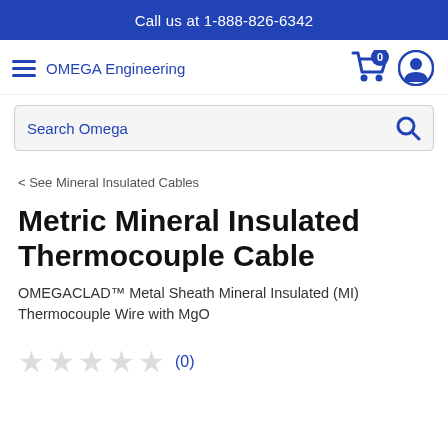Call us at 1-888-826-6342
[Figure (logo): OMEGA Engineering logo with hamburger menu icon, shopping cart with 0 items, and user account icon]
[Figure (screenshot): Search bar with placeholder text 'Search Omega' and a magnifying glass icon]
< See Mineral Insulated Cables
Metric Mineral Insulated Thermocouple Cable
OMEGACLAD™ Metal Sheath Mineral Insulated (MI) Thermocouple Wire with MgO
★★★★★ (0)